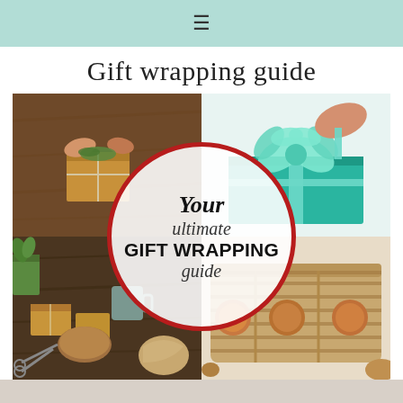≡ (navigation menu icon)
Gift wrapping guide
[Figure (photo): Collage of four gift wrapping photos: top-left shows hands wrapping a brown kraft paper box on a wooden table; top-right shows a teal/turquoise gift box with a large decorative green ribbon bow; bottom-left shows craft wrapping supplies including twine, scissors, small brown wrapped boxes; bottom-right shows a wooden/bamboo slotted box. A circular badge overlay in the center reads 'Your ultimate GIFT WRAPPING guide' with a dark red border.]